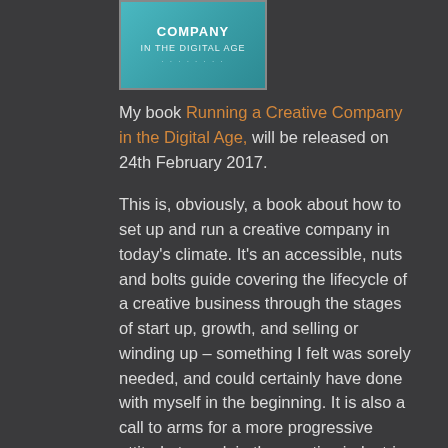[Figure (illustration): Book cover for 'Running a Creative Company in the Digital Age' with teal/cyan background and white text]
My book Running a Creative Company in the Digital Age, will be released on 24th February 2017.
This is, obviously, a book about how to set up and run a creative company in today's climate. It's an accessible, nuts and bolts guide covering the lifecycle of a creative business through the stages of start up, growth, and selling or winding up – something I felt was sorely needed, and could certainly have done with myself in the beginning. It is also a call to arms for a more progressive attitude to work in the creative industries, and particularly film and TV. I ran my production company Mandrake Films from 2008 to 2016. It was a wonderful experience and a steep learning curve. When I became a sole parent, and the job became too much with the